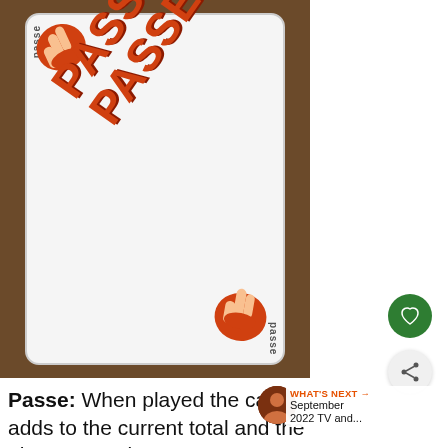[Figure (photo): A white playing card angled on a wooden table, displaying 'PASSE PASSE' in large orange bold diagonal text with two orange pointing hand illustrations, one at top-left and one at bottom-right. Small 'passe' text runs vertically along card edges.]
Passe: When played the card adds to the current total and the player's turn is over.
[Figure (photo): Small circular avatar thumbnail showing a TV/entertainment scene.]
WHAT'S NEXT → September 2022 TV and...
[Figure (infographic): Ad banner with Lidl logo, checkmark icon, 'In-store shopping' text, a blue navigation arrow icon, and weather/other icons.]